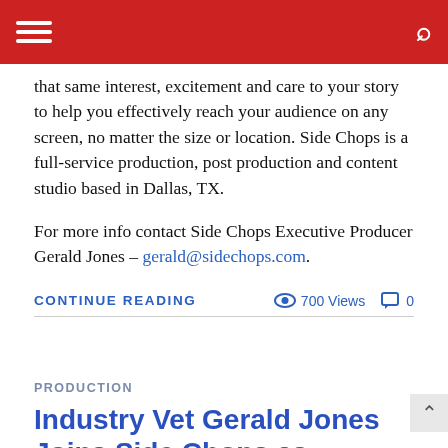[hamburger menu] [search icon]
that same interest, excitement and care to your story to help you effectively reach your audience on any screen, no matter the size or location. Side Chops is a full-service production, post production and content studio based in Dallas, TX.
For more info contact Side Chops Executive Producer Gerald Jones – gerald@sidechops.com.
CONTINUE READING   👁 700 Views  💬 0
PRODUCTION
Industry Vet Gerald Jones Joins Side Chops as Director of Business